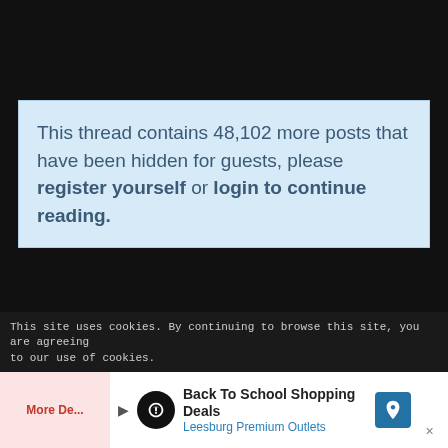[Figure (screenshot): Dark background area at top of page]
This thread contains 48,102 more posts that have been hidden for guests, please register yourself or login to continue reading.
[Figure (screenshot): Participate now! button with red up/down arrow navigation button]
This site uses cookies. By continuing to browse this site, you are agreeing to our use of cookies.
[Figure (infographic): Advertisement: Back To School Shopping Deals - Leesburg Premium Outlets]